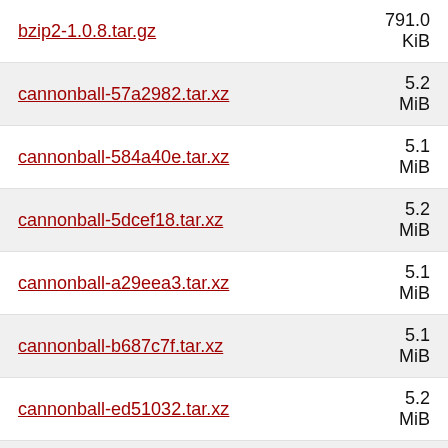bzip2-1.0.8.tar.gz
cannonball-57a2982.tar.xz
cannonball-584a40e.tar.xz
cannonball-5dcef18.tar.xz
cannonball-a29eea3.tar.xz
cannonball-b687c7f.tar.xz
cannonball-ed51032.tar.xz
cap32-23a8b5d.tar.xz